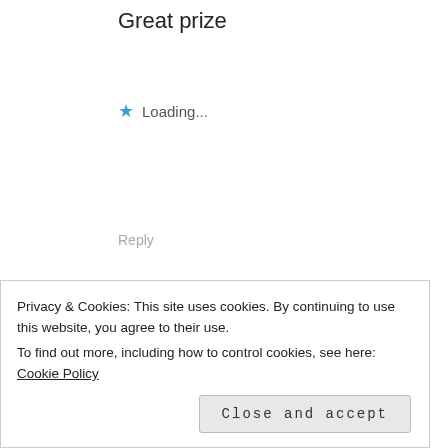Great prize
Loading...
Reply
Tahnee's Blog
25/04/2018 at 8:15 am
Thanks Lorraine you're on my list xx
Privacy & Cookies: This site uses cookies. By continuing to use this website, you agree to their use.
To find out more, including how to control cookies, see here: Cookie Policy
Close and accept